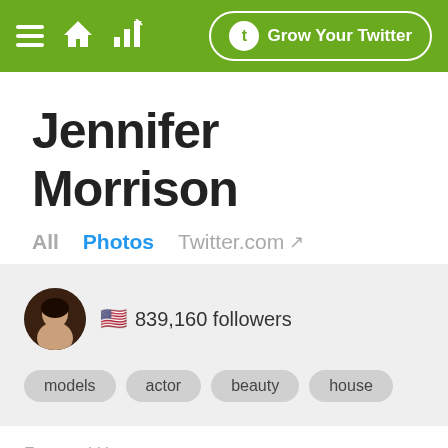≡ 🏠 📊 Grow Your Twitter
Jennifer Morrison
All   Photos   Twitter.com ↗
🇺🇸 839,160 followers
models   actor   beauty   house
Featured Users
lazereyes_   Share